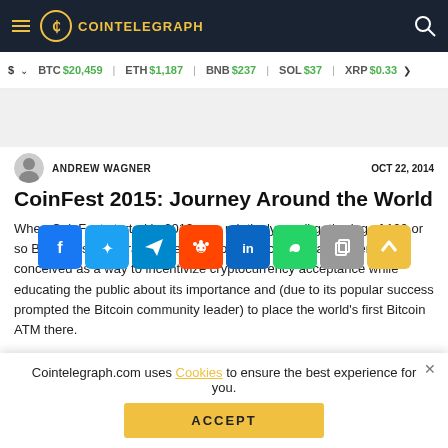COINTELEGRAPH
$ BTC $20,459 ETH $1,187 BNB $237 SOL $37 XRP $0.33
ANDREW WAGNER — OCT 22, 2014
CoinFest 2015: Journey Around the World
When CoinFest started in 2013 as a relatively small gathering of 100 or so Bitcoiners, celebrating the adoption of Bitcoin in Vancouver, it was conceived as a way to incentivize cryptocurrency acceptance while educating the public about its importance and (due to its popular success prompted the Bitcoin community leader) to place the world's first Bitcoin ATM there.
Cointelegraph.com uses Cookies to ensure the best experience for you. ACCEPT